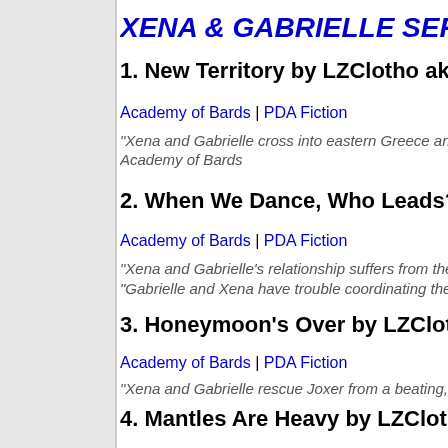XENA & GABRIELLE SERIES BY LZCLOTHO AKA LA...
1. New Territory by LZClotho aka Lara Zielinsky
Academy of Bards | PDA Fiction
"Xena and Gabrielle cross into eastern Greece and while stopping... Academy of Bards
2. When We Dance, Who Leads? by LZClotho aka L...
Academy of Bards | PDA Fiction
"Xena and Gabrielle's relationship suffers from the realities of heroes...
"Gabrielle and Xena have trouble coordinating their sex lives." -- Ath...
3. Honeymoon's Over by LZClotho aka Lara Zielinsk...
Academy of Bards | PDA Fiction
"Xena and Gabrielle rescue Joxer from a beating, and nurse the wou...
4. Mantles Are Heavy by LZClotho aka Lara Zielinsk...
Academy of Bards | PDA Fiction
Gabrielle and Xena's arrival in the Amazon village isn't as welcomin...